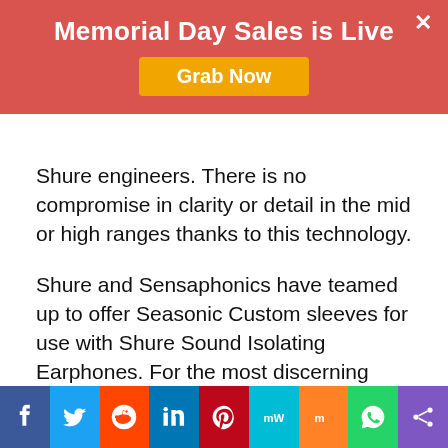Memorial Day Sales is Live
Shure engineers. There is no compromise in clarity or detail in the mid or high ranges thanks to this technology.
Shure and Sensaphonics have teamed up to offer Seasonic Custom sleeves for use with Shure Sound Isolating Earphones. For the most discerning audiophiles, features like frequency response customization, detachable cables, and a wide range of accessories ensure an unmatched, perfectly tailored listening experience.
Social share bar: Facebook, Twitter, Reddit, LinkedIn, Pinterest, MW, Mix, WhatsApp, Share